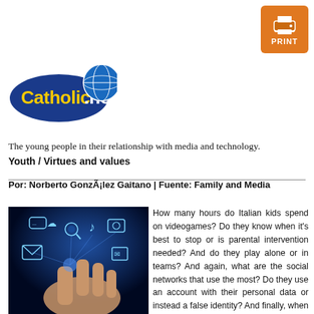[Figure (logo): Print button — orange square with printer icon and PRINT label]
[Figure (logo): Catholic.net logo — blue oval with yellow text and globe graphic]
The young people in their relationship with media and technology.
Youth / Virtues and values
Por: Norberto GonzÃ¡lez Gaitano | Fuente: Family and Media
[Figure (photo): Hand touching glowing digital media icons on a dark blue background — social media, messaging, communication symbols floating above a touchscreen]
How many hours do Italian kids spend on videogames? Do they know when it's best to stop or is parental intervention needed? And do they play alone or in teams? And again, what are the social networks that use the most? Do they use an account with their personal data or instead a false identity? And finally, when they watch a